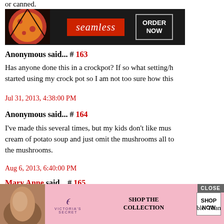or canned.
[Figure (screenshot): Seamless food delivery advertisement banner with pizza image, seamless logo, and ORDER NOW button on dark background]
Anonymous said... # 163
Has anyone done this in a crockpot? If so what setting/h started using my crock pot so I am not too sure how this
Jul 31, 2013, 4:38:00 PM
Anonymous said... # 164
I've made this several times, but my kids don't like mus cream of potato soup and just omit the mushrooms all to the mushrooms.
Aug 6, 2013, 6:40:00 PM
Mary Anne said... # 165
I cooked this this morning for 4 hours ... rockpot on serving it ... ble. Than
[Figure (screenshot): Victoria's Secret advertisement with model photo, VS logo, SHOP THE COLLECTION text, SHOP NOW button, and CLOSE button]